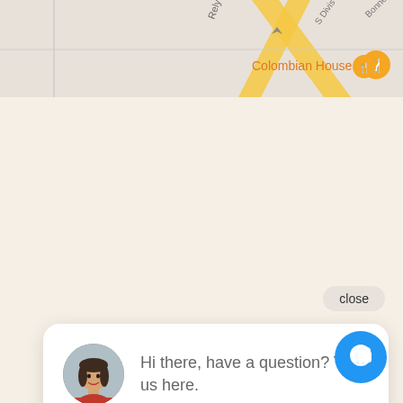[Figure (screenshot): Map screenshot showing street map with 'Colombian House' restaurant marker and street names including Rely, S Divis, and Bonnefoy P]
[Figure (screenshot): Chat widget UI showing a close button, a chat bubble with a female avatar and text 'Hi there, have a question? Text us here.', and a blue circular chat button with speech bubble icon]